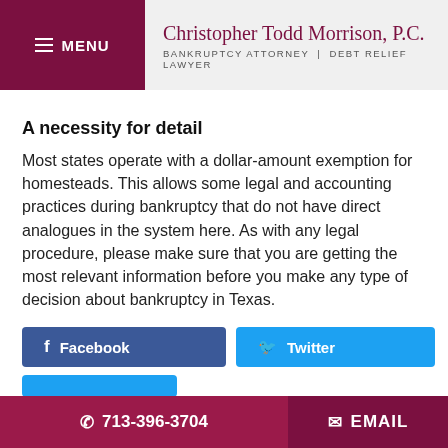MENU | Christopher Todd Morrison, P.C. BANKRUPTCY ATTORNEY | DEBT RELIEF LAWYER
A necessity for detail
Most states operate with a dollar-amount exemption for homesteads. This allows some legal and accounting practices during bankruptcy that do not have direct analogues in the system here. As with any legal procedure, please make sure that you are getting the most relevant information before you make any type of decision about bankruptcy in Texas.
713-396-3704 | EMAIL